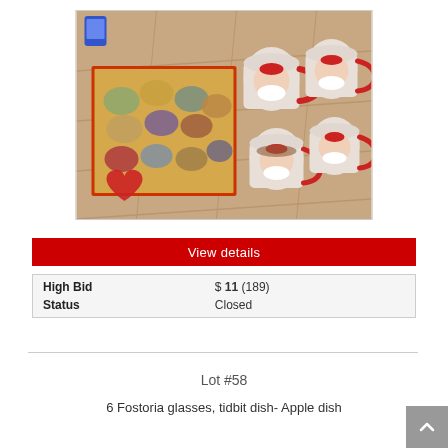[Figure (photo): Photo of Santa Claus mugs (4 mugs with Santa face and red handles) and a box of decorative Christmas ornaments/coasters on a wooden floor surface.]
View details
| High Bid | $ 11 (189) |
| Status | Closed |
Lot #58
6 Fostoria glasses, tidbit dish- Apple dish